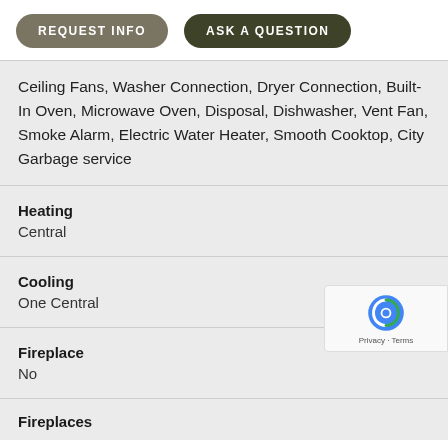[Figure (other): Two pill-shaped buttons: REQUEST INFO (olive/tan) and ASK A QUESTION (dark green)]
Ceiling Fans, Washer Connection, Dryer Connection, Built-In Oven, Microwave Oven, Disposal, Dishwasher, Vent Fan, Smoke Alarm, Electric Water Heater, Smooth Cooktop, City Garbage service
Heating
Central
Cooling
One Central
Fireplace
No
Fireplaces